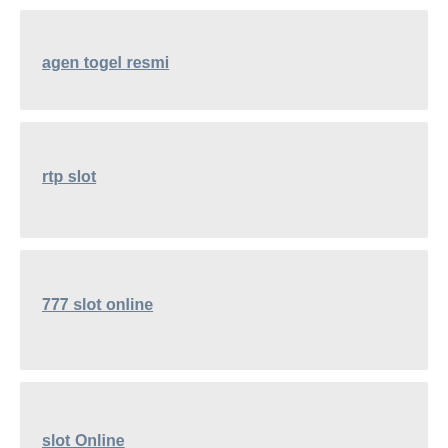agen togel resmi
rtp slot
777 slot online
slot Online